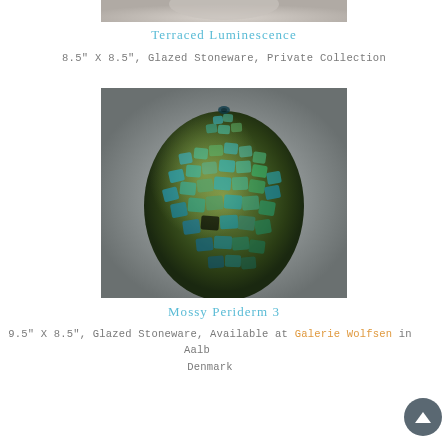[Figure (photo): Partial view of a glazed stoneware ceramic artwork — Terraced Luminescence — cropped at top of page]
Terraced Luminescence
8.5" X 8.5", Glazed Stoneware, Private Collection
[Figure (photo): Egg-shaped glazed stoneware ceramic vessel with mosaic-like scale or tile texture in shades of teal, green, and brown — Mossy Periderm 3]
Mossy Periderm 3
9.5" X 8.5", Glazed Stoneware, Available at Galerie Wolfsen in Aalborg, Denmark